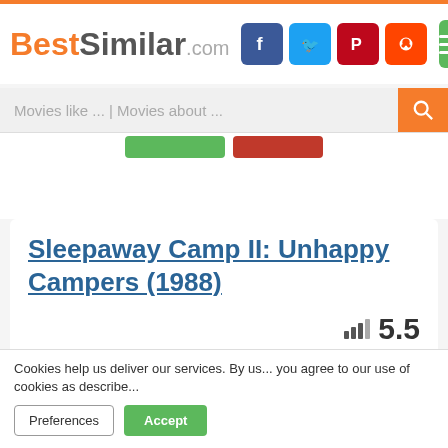BestSimilar.com
Movies like ... | Movies about ...
Sleepaway Camp II: Unhappy Campers (1988)
5.5
12K
[Figure (screenshot): Dark background with large number 18 visible, overlaid by advertisement for 'At Home With Willie Gomez' showing a man with beard]
Cookies help us deliver our services. By us... you agree to our use of cookies as describe...
Preferences
Accept